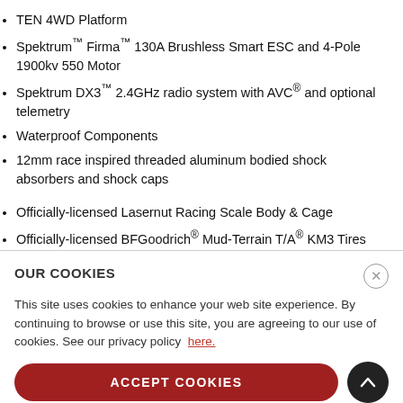TEN 4WD Platform
Spektrum™ Firma™ 130A Brushless Smart ESC and 4-Pole 1900kv 550 Motor
Spektrum DX3™ 2.4GHz radio system with AVC® and optional telemetry
Waterproof Components
12mm race inspired threaded aluminum bodied shock absorbers and shock caps
Officially-licensed Lasernut Racing Scale Body & Cage
Officially-licensed BFGoodrich® Mud-Terrain T/A® KM3 Tires
Officially-licensed Raceline 2.2 Wheels
Sway bars
Three Oil Filled Gear Differentials
OVERVIEW
The TEN 4WD platform is recognized all over the world as the...
builds on the TEN design and adds to its stock...
OUR COOKIES
This site uses cookies to enhance your web site experience. By continuing to browse or use this site, you are agreeing to our use of cookies. See our privacy policy here.